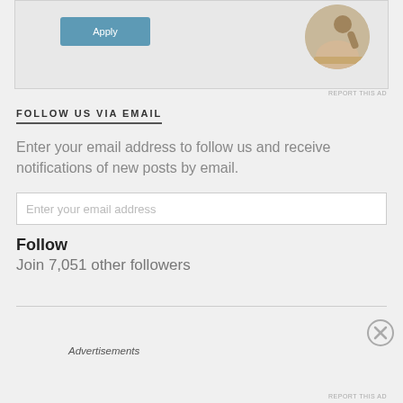[Figure (photo): Ad banner with an Apply button and a circular photo of a man sitting at a desk thinking]
REPORT THIS AD
FOLLOW US VIA EMAIL
Enter your email address to follow us and receive notifications of new posts by email.
Enter your email address
Follow
Join 7,051 other followers
[Figure (other): Close button (X circle) for advertisement]
Advertisements
REPORT THIS AD